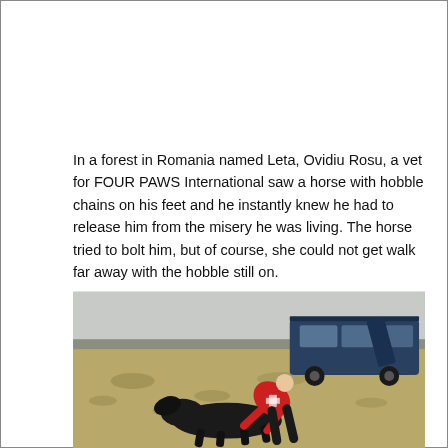In a forest in Romania named Leta, Ovidiu Rosu, a vet for FOUR PAWS International saw a horse with hobble chains on his feet and he instantly knew he had to release him from the misery he was living. The horse tried to bolt him, but of course, she could not get walk far away with the hobble still on.
[Figure (photo): Outdoor scene in a flat, open field. A person wearing a red jacket with a white/red cross emblem is bent over attending to a dark horse lying on dry grass. In the background, a dark blue SUV/Land Rover is parked with its door open. The sky is overcast and a treeline is visible on the horizon.]